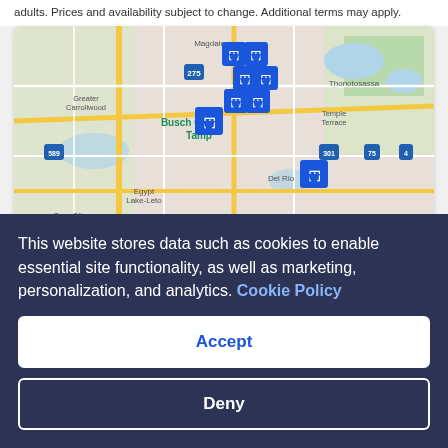adults. Prices and availability subject to change. Additional terms may apply.
[Figure (map): Google map of Tampa area near Busch Gardens showing hotel pin markers clustered around Tampa, with areas labeled Magdalene, Greater Carrollwood, Busch Gardens Tampa, Temple Terrace, Egypt Lake-Leto, Town N Country, Del Rio, Thonotosassa, and route markers 275, 589, 301, 75, 4.]
View map
Where to stay in Adventure Island
This website stores data such as cookies to enable essential site functionality, as well as marketing, personalization, and analytics. Cookie Policy
Accept
Deny